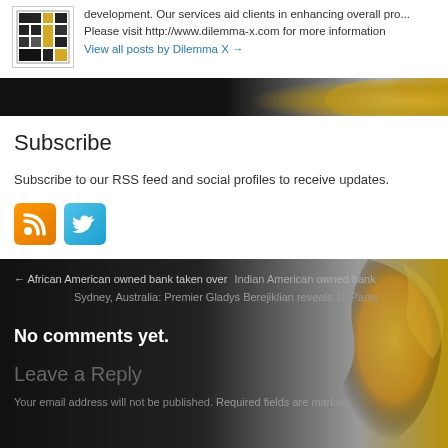[Figure (logo): Dilemma X website logo - grid/building icon in black and yellow]
development. Our services aid clients in enhancing overall pro... Please visit http://www.dilemma-x.com for more information
View all posts by Dilemma X →
Subscribe
Subscribe to our RSS feed and social profiles to receive updates.
[Figure (illustration): RSS feed icon - orange square with RSS symbol]
[Figure (illustration): Twitter icon - blue square with bird symbol]
← African American owned bank taken over  Indian American owned bank Sydney, Australia: Premier Gladys Berejiklian reveals 16 Parra
No comments yet.
Leave a Reply
Your email address will not be published. Required fields are marked *